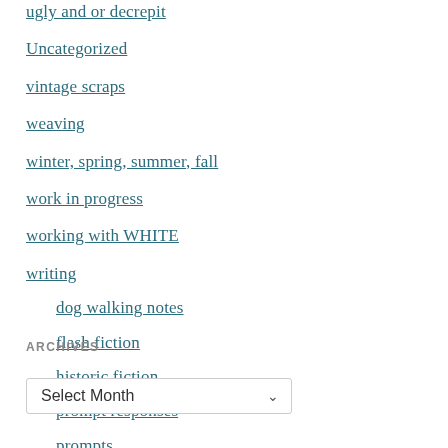ugly and or decrepit
Uncategorized
vintage scraps
weaving
winter, spring, summer, fall
work in progress
working with WHITE
writing
dog walking notes
flash fiction
historic fiction
prompt responses
prompts
ARCHIVES
Select Month